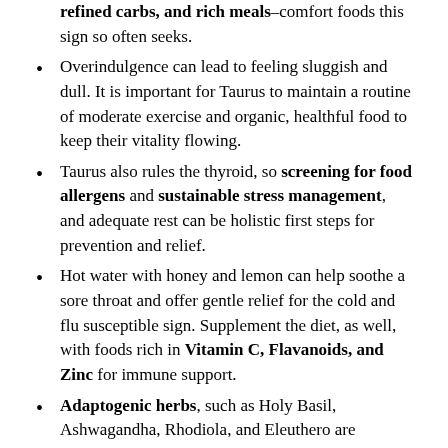refined carbs, and rich meals–comfort foods this sign so often seeks.
Overindulgence can lead to feeling sluggish and dull. It is important for Taurus to maintain a routine of moderate exercise and organic, healthful food to keep their vitality flowing.
Taurus also rules the thyroid, so screening for food allergens and sustainable stress management, and adequate rest can be holistic first steps for prevention and relief.
Hot water with honey and lemon can help soothe a sore throat and offer gentle relief for the cold and flu susceptible sign. Supplement the diet, as well, with foods rich in Vitamin C, Flavanoids, and Zinc for immune support.
Adaptogenic herbs, such as Holy Basil, Ashwagandha, Rhodiola, and Eleuthero are